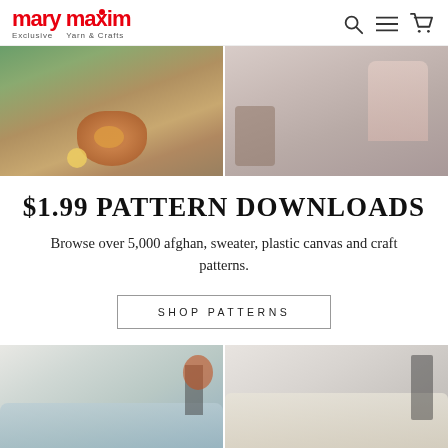mary maxim — Exclusive Yarn & Crafts
[Figure (photo): Two side-by-side photos: left shows stuffed animal toys (tiger, duck, others) on tropical/jungle themed blanket; right shows a pink floral patterned blanket or textile draped over a wooden chair near a crib.]
$1.99 PATTERN DOWNLOADS
Browse over 5,000 afghan, sweater, plastic canvas and craft patterns.
SHOP PATTERNS
[Figure (photo): Two side-by-side photos: left shows a light blue knitted/crocheted throw blanket on a sofa with a plant and geometric vase in background; right shows a cream/white chunky knit blanket on a chair with lantern decorations on a side table.]